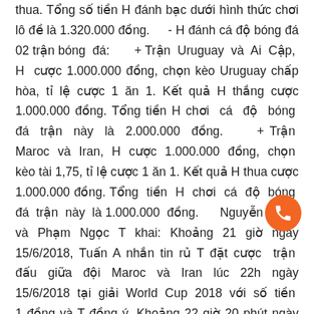thua. Tổng số tiền H đánh bạc dưới hình thức chơi lô đề là 1.320.000 đồng.      - H đánh cá độ bóng đá 02 trận bóng đá:       + Trận Uruguay và Ai Cập, H cược 1.000.000 đồng, chọn kèo Uruguay chấp hòa, tỉ lệ cược 1 ăn 1. Kết quả H thắng cược 1.000.000 đồng. Tổng tiền H chơi cá độ bóng đá trận này là 2.000.000 đồng.      + Trận Maroc và Iran, H cược 1.000.000 đồng, chọn kèo tài 1,75, tỉ lệ cược 1 ăn 1. Kết quả H thua cược 1.000.000 đồng. Tổng tiền H chơi cá độ bóng đá trận này là 1.000.000 đồng.      Nguyễn Anh T và Phạm Ngọc T khai: Khoảng 21 giờ ngày 15/6/2018, Tuấn A nhắn tin rủ T đặt cược trận đấu giữa đội Maroc và Iran lúc 22h ngày 15/6/2018 tại giải World Cup 2018 với số tiền 1 đồng và T đồng ý. Khoảng 22 giờ 20 phút ngày 15/6/2018 H rủ T, Tuấn A ra quán cà phê ở Thanh Nhàn xem bóng đá. Kết quả trận đấu Iran thắng 1-0, Tuấn A thắng cược T 100.000 đồng nhưng chưa thanh toán. Khoảng 00 giờ